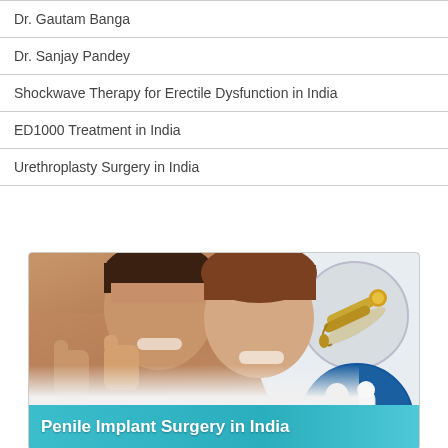Dr. Gautam Banga
Dr. Sanjay Pandey
Shockwave Therapy for Erectile Dysfunction in India
ED1000 Treatment in India
Urethroplasty Surgery in India
[Figure (photo): Promotional image for Penile Implant Surgery in India showing a happy couple giving thumbs up, with medical device images in circular overlays (gold-colored malleable implant and blue-background inflatable implant), and a teal banner reading 'Penile Implant Surgery in India']